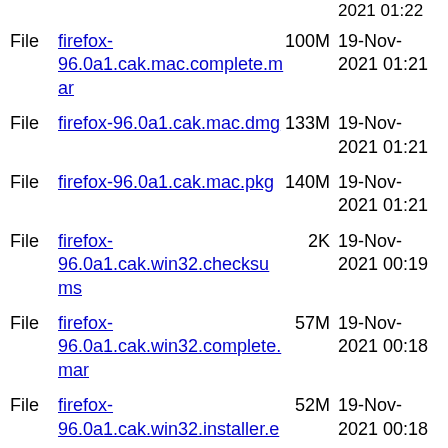File  firefox-96.0a1.cak.mac.complete.mar  100M  19-Nov-2021 01:21
File  firefox-96.0a1.cak.mac.dmg  133M  19-Nov-2021 01:21
File  firefox-96.0a1.cak.mac.pkg  140M  19-Nov-2021 01:21
File  firefox-96.0a1.cak.win32.checksums  2K  19-Nov-2021 00:19
File  firefox-96.0a1.cak.win32.complete.mar  57M  19-Nov-2021 00:18
File  firefox-96.0a1.cak.win32.installer.exe  52M  19-Nov-2021 00:18
File  firefox-96.0a1.cak.win32.installer.msi  52M  19-Nov-2021 00:18
File  firefox-96.0a1.cak.win32.zip  78M  19-Nov-2021 00:18
File  firefox-96.0a1.cak.win64-aarch64.checksums  2K  19-Nov-2021 00:19
File  firefox-96.0a1.cak.win64-aarch64.complete.mar  87M  19-Nov-2021 00:18
File  firefox-96.0a1.cak.win64-aarch64.installer.exe  82M  19-Nov-2021 00:18